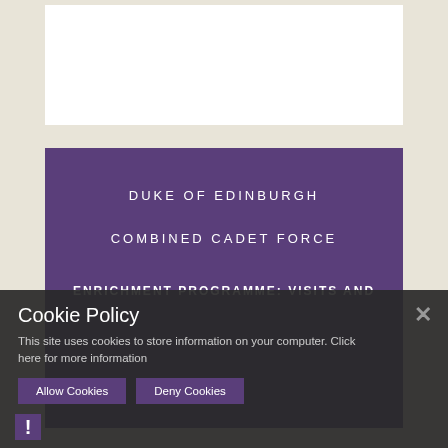[Figure (other): White rectangular box at the top of the page on a beige/cream textured background]
DUKE OF EDINBURGH
COMBINED CADET FORCE
ENRICHMENT PROGRAMME: VISITS AND
Cookie Policy
This site uses cookies to store information on your computer. Click here for more information
Allow Cookies
Deny Cookies